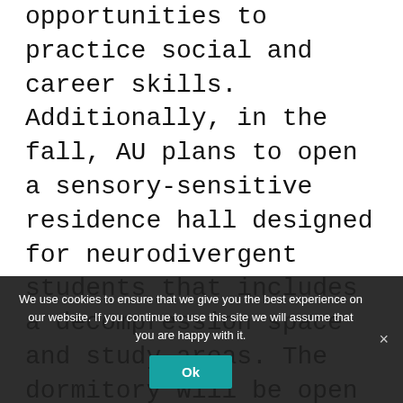opportunities to practice social and career skills. Additionally, in the fall, AU plans to open a sensory-sensitive residence hall designed for neurodivergent students that includes a decompression space and study areas. The dormitory will be open to both neurodivergent and neurotypical students.
“Every element of this residence hall has been thought of to the point of colors, lighting, fabrics, shower heads and modular furniture,” Buckley says.
(partial text cut off)
We use cookies to ensure that we give you the best experience on our website. If you continue to use this site we will assume that you are happy with it.